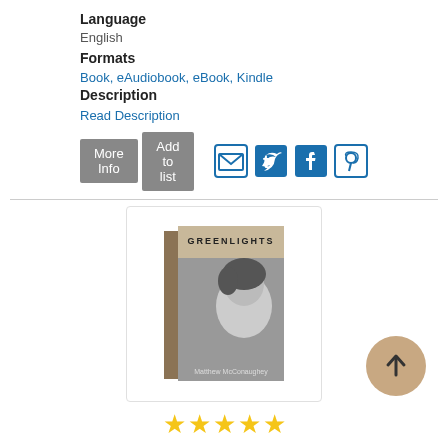Language
English
Formats
Book, eAudiobook, eBook, Kindle
Description
Read Description
[Figure (screenshot): More Info and Add to list buttons, with email, Twitter, Facebook, Pinterest social icons]
[Figure (photo): Book cover of Greenlights by Matthew McConaughey — brown/tan spine with black and white photo of man's face]
[Figure (other): Five yellow star rating]
5) Greenlights
Author
McConaughey, Matthew
Language